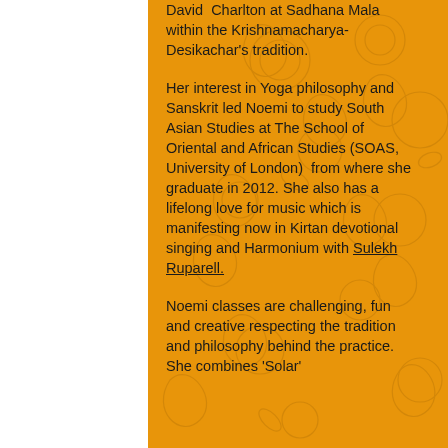David Charlton at Sadhana Mala within the Krishnamacharya-Desikachar's tradition.
Her interest in Yoga philosophy and Sanskrit led Noemi to study South Asian Studies at The School of Oriental and African Studies (SOAS, University of London) from where she graduate in 2012. She also has a lifelong love for music which is manifesting now in Kirtan devotional singing and Harmonium with Sulekh Ruparell.
Noemi classes are challenging, fun and creative respecting the tradition and philosophy behind the practice. She combines 'Solar'